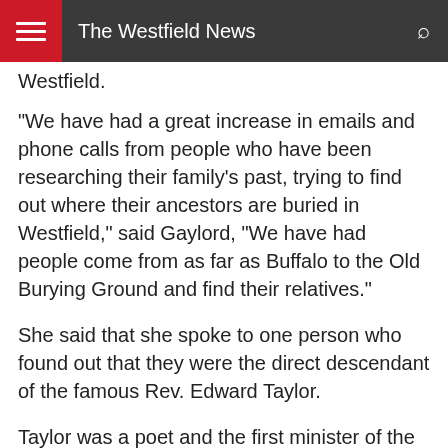The Westfield News
Westfield.
“We have had a great increase in emails and phone calls from people who have been researching their family’s past, trying to find out where their ancestors are buried in Westfield,” said Gaylord, “We have had people come from as far as Buffalo to the Old Burying Ground and find their relatives.”
She said that she spoke to one person who found out that they were the direct descendant of the famous Rev. Edward Taylor.
Taylor was a poet and the first minister of the First Congregational Church in Westfield. Gaylord said that, as it would happen, the descendent of Taylor who contacted her is a writer and poet as well.